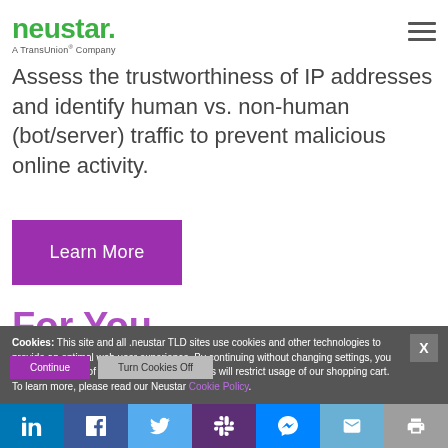neustar. A TransUnion® Company
Assess the trustworthiness of IP addresses and identify human vs. non-human (bot/server) traffic to prevent malicious online activity.
[Figure (other): Purple 'Learn More' button]
For You
Cookies: This site and all .neustar TLD sites use cookies and other technologies to provide an optimal web user experience. By continuing without changing settings, you agree to our use of cookies. Disabling cookies will restrict usage of our shopping cart. To learn more, please read our Neustar Cookie Policy.
[Figure (other): Continue and Turn Cookies Off buttons]
Social share bar: LinkedIn, Facebook, Twitter, Slack, Messenger, Email, Print